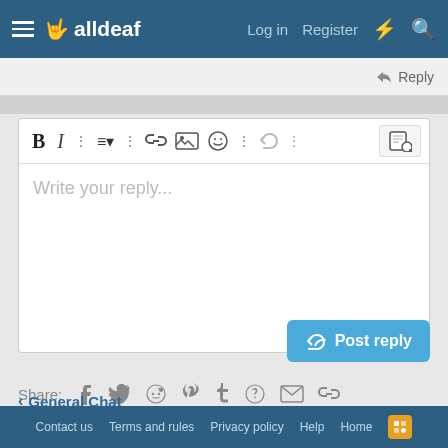alldeaf — Log in  Register
Reply
[Figure (screenshot): Text editor / reply box with toolbar buttons (Bold, Italic, more options, list, link, image, emoji, undo, preview) and placeholder text 'Write your reply...']
Post reply
Share: (Facebook, Twitter, Reddit, Pinterest, Tumblr, WhatsApp, Email, Link)
General Chat
Contact us   Terms and rules   Privacy policy   Help   Home